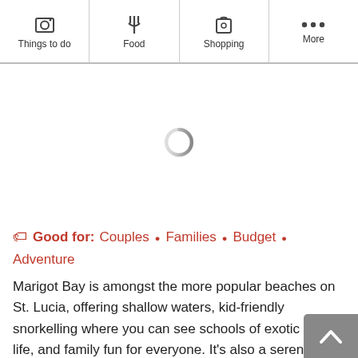Things to do | Food | Shopping | More
[Figure (screenshot): Loading spinner circle on white background]
Good for: Couples • Families • Budget • Adventure
Marigot Bay is amongst the more popular beaches on St. Lucia, offering shallow waters, kid-friendly snorkelling where you can see schools of exotic sea life, and family fun for everyone. It's also a serene